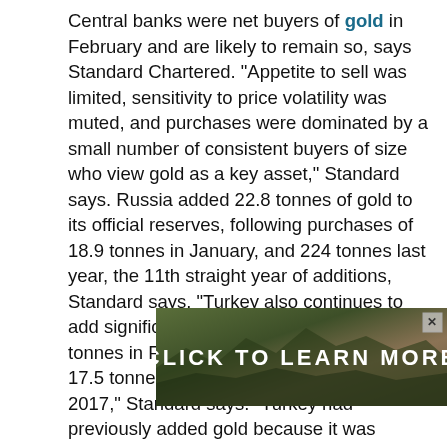Central banks were net buyers of gold in February and are likely to remain so, says Standard Chartered. “Appetite to sell was limited, sensitivity to price volatility was muted, and purchases were dominated by a small number of consistent buyers of size who view gold as a key asset,” Standard says. Russia added 22.8 tonnes of gold to its official reserves, following purchases of 18.9 tonnes in January, and 224 tonnes last year, the 11th straight year of additions, Standard says. “Turkey also continues to add significantly to its reserves, buying 8.8 tonnes in February, following additions of 17.5 tonnes in January and 86 tonnes in 2017,” Standard says. “Turkey had previously added gold because it was accepted as a reserve requirement from commercial banks, but last year it started to add gold to its own balance sheet.” Meanwhile, Kazakhstan added 4.01 tonnes in February and h[...] Stanc[...] emain net buyers.”
[Figure (other): Advertisement banner overlay reading 'CLICK TO LEARN MORE' with a mountain landscape background image and a close button (X) in the top right corner.]